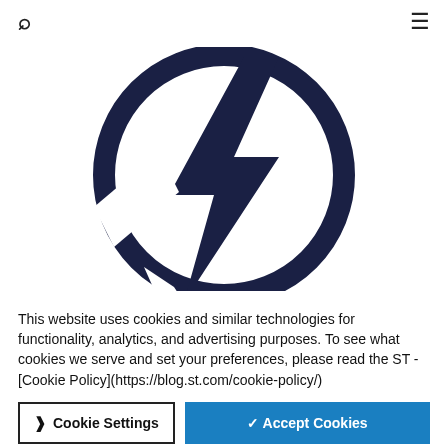🔍 ☰
[Figure (logo): Dark navy blue lightning bolt inside a circle logo mark]
This website uses cookies and similar technologies for functionality, analytics, and advertising purposes. To see what cookies we serve and set your preferences, please read the ST -[Cookie Policy](https://blog.st.com/cookie-policy/)
❯ Cookie Settings    ✓ Accept Cookies